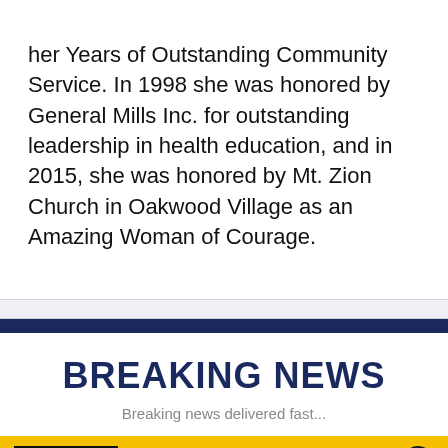her Years of Outstanding Community Service. In 1998 she was honored by General Mills Inc. for outstanding leadership in health education, and in 2015, she was honored by Mt. Zion Church in Oakwood Village as an Amazing Woman of Courage.
BREAKING NEWS
Breaking news delivered fast...
[Figure (screenshot): Yellow WATCH LIVE banner with FOX 5 New York thumbnail showing city skyline and text 'Good Day New York']